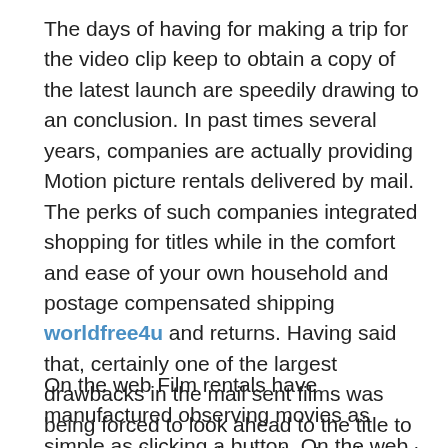The days of having for making a trip for the video clip keep to obtain a copy of the latest launch are speedily drawing to an conclusion. In past times several years, companies are actually providing Motion picture rentals delivered by mail. The perks of such companies integrated shopping for titles while in the comfort and ease of your own household and postage compensated shipping worldfree4u and returns. Having said that, certainly one of the largest drawbacks in the mail sent films was being forced to look ahead to the title to reach. A Film evening had to be planned in advance. Enter on the internet downloadable flicks.
On the web Film rentals have manufactured observing movies as simple as clicking a button. On the web Motion picture solutions have existed for your couple of years but are actually starting to turn out to be additional well-liked as A lot more folks have entry to